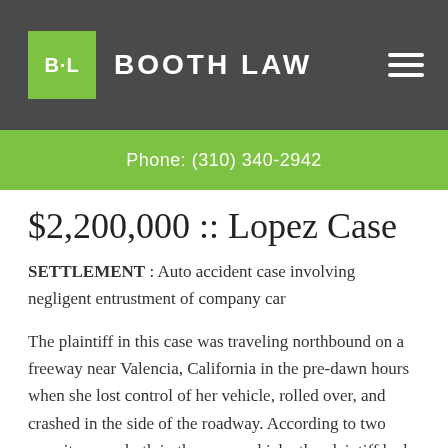BOOTH LAW
Phone: (310) 340-2942
$2,200,000 :: Lopez Case
SETTLEMENT : Auto accident case involving negligent entrustment of company car
The plaintiff in this case was traveling northbound on a freeway near Valencia, California in the pre-dawn hours when she lost control of her vehicle, rolled over, and crashed in the side of the roadway. According to two eyewitnesses, both in the same vehicle, the plaintiff had passed them at excessively